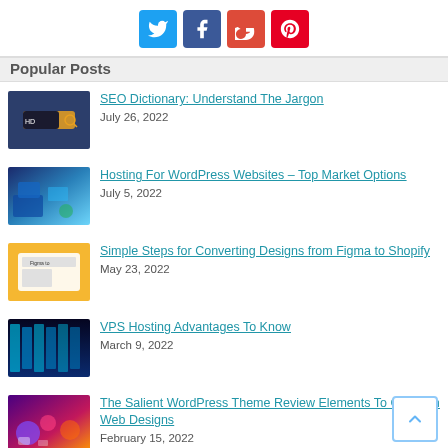[Figure (infographic): Social share buttons: Twitter (blue), Facebook (dark blue), Google+ (red), Pinterest (red)]
Popular Posts
SEO Dictionary: Understand The Jargon — July 26, 2022
Hosting For WordPress Websites – Top Market Options — July 5, 2022
Simple Steps for Converting Designs from Figma to Shopify — May 23, 2022
VPS Hosting Advantages To Know — March 9, 2022
The Salient WordPress Theme Review Elements To Check In Web Designs — February 15, 2022